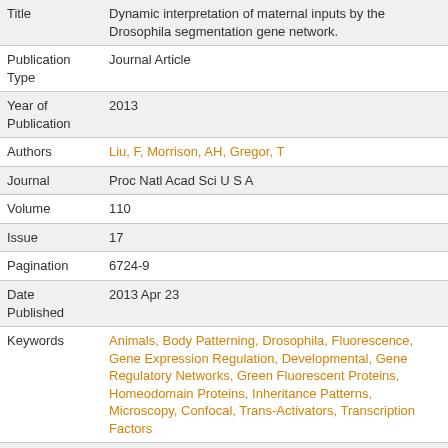| Field | Value |
| --- | --- |
| Title | Dynamic interpretation of maternal inputs by the Drosophila segmentation gene network. |
| Publication Type | Journal Article |
| Year of Publication | 2013 |
| Authors | Liu, F, Morrison, AH, Gregor, T |
| Journal | Proc Natl Acad Sci U S A |
| Volume | 110 |
| Issue | 17 |
| Pagination | 6724-9 |
| Date Published | 2013 Apr 23 |
| Keywords | Animals, Body Patterning, Drosophila, Fluorescence, Gene Expression Regulation, Developmental, Gene Regulatory Networks, Green Fluorescent Proteins, Homeodomain Proteins, Inheritance Patterns, Microscopy, Confocal, Trans-Activators, Transcription Factors |
|  | Patterning of body parts in multicellular organisms relies on the interpretation of transcription factor (TF) concentrations by genetic networks. To determine the extent by which absolute TF concentration dictates gene expression and morphogenesis programs that ultimately |